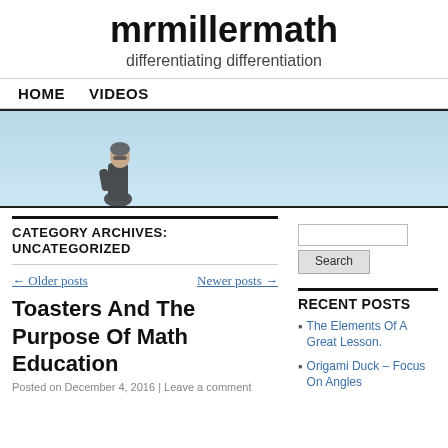mrmillermath
differentiating differentiation
HOME   VIDEOS
[Figure (photo): Banner photo of a person standing in a light blue sky background, positioned to the left side of the banner.]
CATEGORY ARCHIVES:
UNCATEGORIZED
← Older posts
Newer posts →
Toasters And The Purpose Of Math Education
Posted on December 4, 2016 | Leave a comment
Search
RECENT POSTS
The Elements Of A Great Lesson.
Origami Duck – Focus On Angles